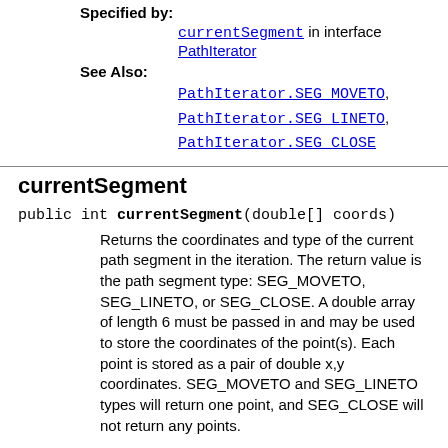Specified by:
currentSegment in interface PathIterator
See Also:
PathIterator.SEG_MOVETO, PathIterator.SEG_LINETO, PathIterator.SEG_CLOSE
currentSegment
public int currentSegment(double[] coords)
Returns the coordinates and type of the current path segment in the iteration. The return value is the path segment type: SEG_MOVETO, SEG_LINETO, or SEG_CLOSE. A double array of length 6 must be passed in and may be used to store the coordinates of the point(s). Each point is stored as a pair of double x,y coordinates. SEG_MOVETO and SEG_LINETO types will return one point, and SEG_CLOSE will not return any points.
Specified by:
currentSegment in interface PathIterator
See Also:
PathIterator.SEG_MOVETO,